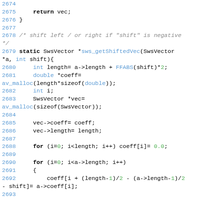Source code listing lines 2674-2692
2674
2675     return vec;
2676 }
2677
2678 /* shift left / or right if "shift" is negative */
2679 static SwsVector *sws_getShiftedVec(SwsVector *a, int shift){
2680     int length= a->length + FFABS(shift)*2;
2681     double *coeff=
av_malloc(length*sizeof(double));
2682     int i;
2683     SwsVector *vec=
av_malloc(sizeof(SwsVector));
2684
2685     vec->coeff= coeff;
2686     vec->length= length;
2687
2688     for (i=0; i<length; i++) coeff[i]= 0.0;
2689
2690     for (i=0; i<a->length; i++)
2691     {
2692         coeff[i + (length-1)/2 - (a->length-1)/2 - shift]= a->coeff[i];